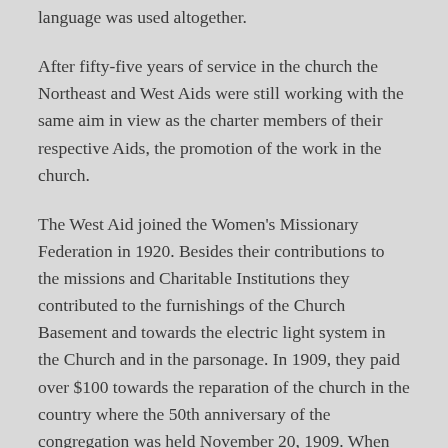language was used altogether.
After fifty-five years of service in the church the Northeast and West Aids were still working with the same aim in view as the charter members of their respective Aids, the promotion of the work in the church.
The West Aid joined the Women's Missionary Federation in 1920. Besides their contributions to the missions and Charitable Institutions they contributed to the furnishings of the Church Basement and towards the electric light system in the Church and in the parsonage. In 1909, they paid over $100 towards the reparation of the church in the country where the 50th anniversary of the congregation was held November 20, 1909. When the Mission Festivals were celebrated, the three Aids joined in serving dinner and conducting a bazaar.
Due to the ways and means of travel and communication of the earlier days these Aids functioned as separate organizations but